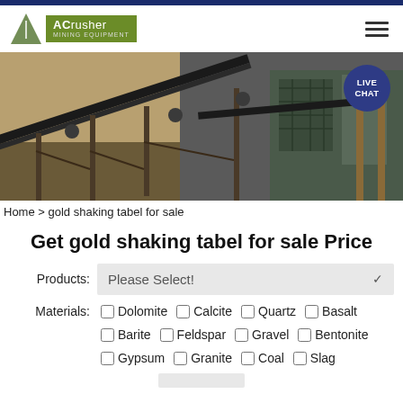[Figure (logo): ACrusher Mining Equipment logo with green triangle and text]
[Figure (photo): Mining equipment and conveyor belts at an open-pit quarry site]
Home > gold shaking tabel for sale
Get gold shaking tabel for sale Price
Products: Please Select!
Materials: Dolomite  Calcite  Quartz  Basalt  Barite  Feldspar  Gravel  Bentonite  Gypsum  Granite  Coal  Slag